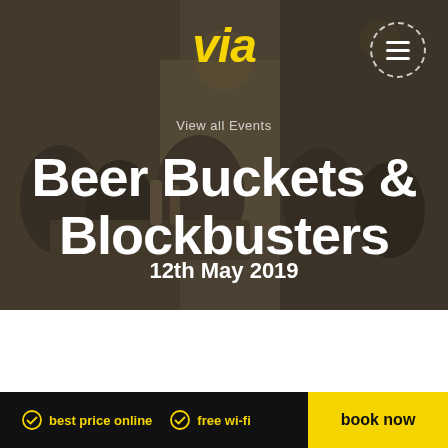[Figure (photo): Background photo of people at a bar/event venue, with dark overlay]
via
View all Events
Beer Buckets & Blockbusters
12th May 2019
best price online  free wi-fi
book now